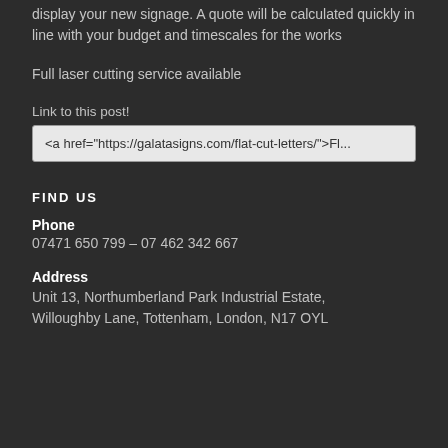display your new signage. A quote will be calculated quickly in line with your budget and timescales for the works
Full laser cutting service available
Link to this post!
<a href="https://galatasigns.com/flat-cut-letters/">Fl...
FIND US
Phone
07471 650 799 – 07 462 342 667
Address
Unit 13, Northumberland Park Industrial Estate, Willoughby Lane, Tottenham, London, N17 OYL